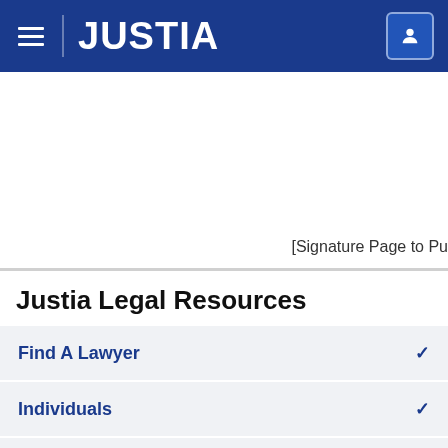JUSTIA
[Signature Page to Pu
Justia Legal Resources
Find A Lawyer
Individuals
Business